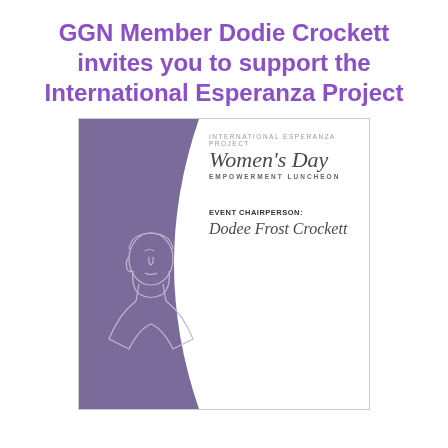GGN Member Dodie Crockett invites you to support the International Esperanza Project
[Figure (illustration): Event flyer for the International Esperanza Project Women's Day Empowerment Luncheon. Left half has a muted purple/mauve background with a white line-art silhouette of a woman's profile. Right half is white with text: 'INTERNATIONAL ESPERANZA PROJECT', 'Women's Day' in script, 'EMPOWERMENT LUNCHEON', 'EVENT CHAIRPERSON:', 'Dodee Frost Crockett' in script.]